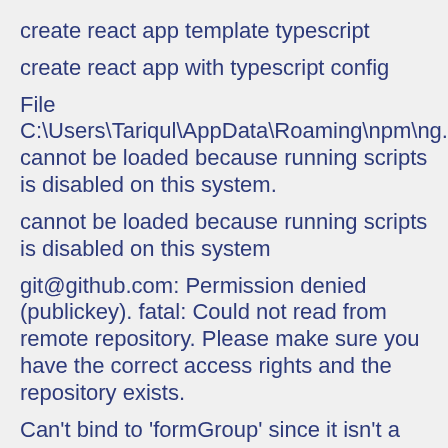create react app template typescript
create react app with typescript config
File C:\Users\Tariqul\AppData\Roaming\npm\ng.ps1 cannot be loaded because running scripts is disabled on this system.
cannot be loaded because running scripts is disabled on this system
git@github.com: Permission denied (publickey). fatal: Could not read from remote repository. Please make sure you have the correct access rights and the repository exists.
Can't bind to 'formGroup' since it isn't a known property of 'form
ts-node call function from command line